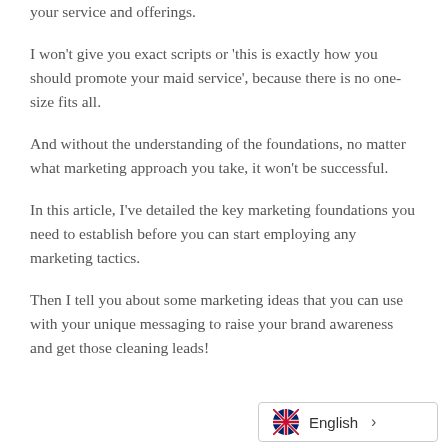your service and offerings.
I won't give you exact scripts or 'this is exactly how you should promote your maid service', because there is no one-size fits all.
And without the understanding of the foundations, no matter what marketing approach you take, it won't be successful.
In this article, I've detailed the key marketing foundations you need to establish before you can start employing any marketing tactics.
Then I tell you about some marketing ideas that you can use with your unique messaging to raise your brand awareness and get those cleaning leads!